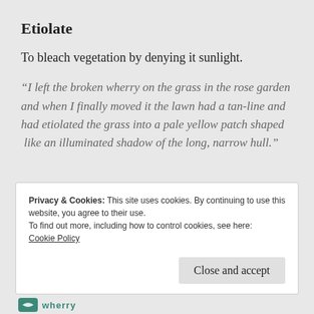Etiolate
To bleach vegetation by denying it sunlight.
“I left the broken wherry on the grass in the rose garden and when I finally moved it the lawn had a tan-line and had etiolated the grass into a pale yellow patch shaped  like an illuminated shadow of the long, narrow hull.”
Privacy & Cookies: This site uses cookies. By continuing to use this website, you agree to their use.
To find out more, including how to control cookies, see here:
Cookie Policy
Close and accept